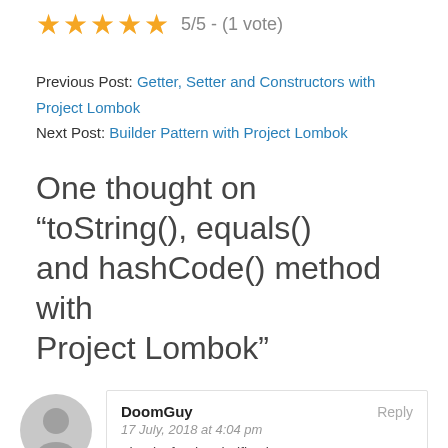[Figure (other): Five gold star rating icons followed by text '5/5 - (1 vote)']
Previous Post: Getter, Setter and Constructors with Project Lombok
Next Post: Builder Pattern with Project Lombok
One thought on “toString(), equals() and hashCode() method with Project Lombok”
DoomGuy
17 July, 2018 at 4:04 pm
Thanks for the clarification.